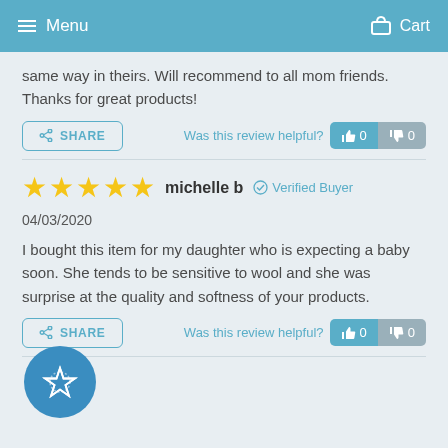Menu   Cart
same way in theirs. Will recommend to all mom friends. Thanks for great products!
Was this review helpful?  👍 0  👎 0
michelle b   ✅ Verified Buyer   04/03/2020
I bought this item for my daughter who is expecting a baby soon. She tends to be sensitive to wool and she was surprise at the quality and softness of your products.
Was this review helpful?  👍 0  👎 0